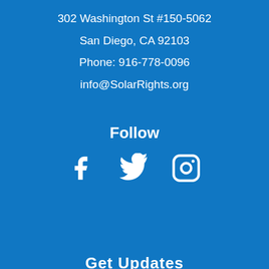302 Washington St #150-5062
San Diego, CA 92103
Phone: 916-778-0096
info@SolarRights.org
Follow
[Figure (infographic): Three social media icons: Facebook, Twitter, Instagram]
Get Updates